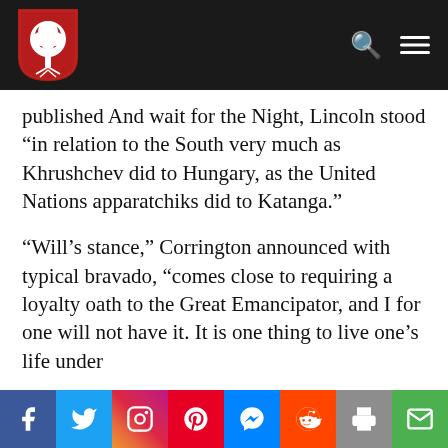Abbeville Institute logo and navigation
published And wait for the Night, Lincoln stood “in relation to the South very much as Khrushchev did to Hungary, as the United Nations apparatchiks did to Katanga.”
“Will’s stance,” Corrington announced with typical bravado, “comes close to requiring a loyalty oath to the Great Emancipator, and I for one will not have it. It is one thing to live one’s life under
Social share bar: Facebook, Twitter, Instagram, Pinterest, Messenger, Reddit, Print, Email